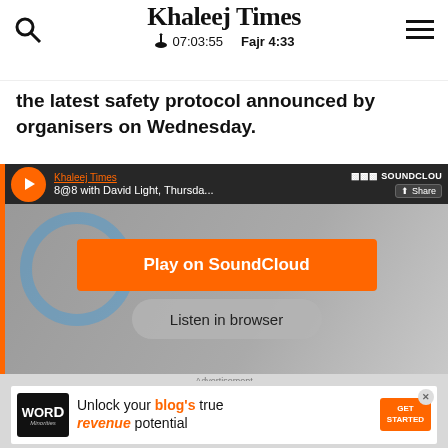Khaleej Times | 07:03:55 | Fajr 4:33
the latest safety protocol announced by organisers on Wednesday.
[Figure (screenshot): SoundCloud embedded player for Khaleej Times podcast '8@8 with David Light, Thursda...' with orange play button, Play on SoundCloud button, and Listen in browser button]
Advertisement
[Figure (screenshot): Advertisement banner for Word Minorities: 'Unlock your blog's true revenue potential' with GET STARTED button]